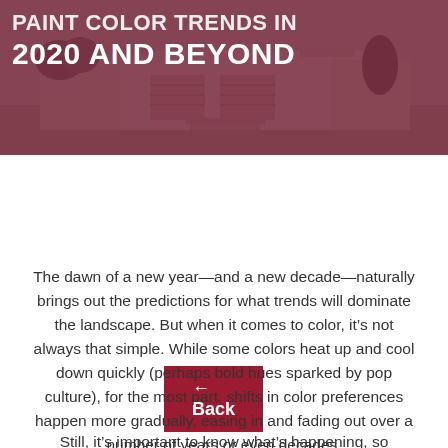[Figure (photo): Hero image of a modern house exterior with a dark crimson/maroon color overlay. White bold text overlaid reads '2020 AND BEYOND' (partial title visible at top).]
2020 AND BEYOND
← Back
The dawn of a new year—and a new decade—naturally brings out the predictions for what trends will dominate the landscape. But when it comes to color, it's not always that simple. While some colors heat up and cool down quickly (perhaps bold hues sparked by pop culture), for the most part, shifts in color preferences happen more gradually, easing in and fading out over a number of years or even decades.
Still, it's important to know what's happening, so